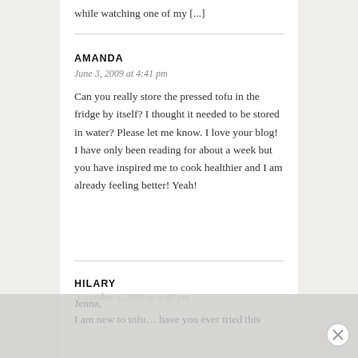while watching one of my [...]
AMANDA
June 3, 2009 at 4:41 pm
Can you really store the pressed tofu in the fridge by itself? I thought it needed to be stored in water? Please let me know. I love your blog! I have only been reading for about a week but you have inspired me to cook healthier and I am already feeling better! Yeah!
HILARY
November 1, 2009 at 3:40 pm
Jenna,
I am new to tofu... have you ever tried this